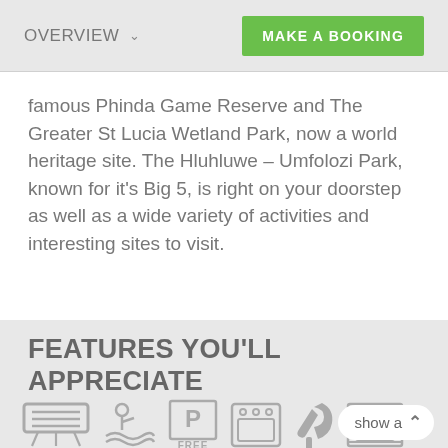OVERVIEW   MAKE A BOOKING
famous Phinda Game Reserve and The Greater St Lucia Wetland Park, now a world heritage site. The Hluhluwe – Umfolozi Park, known for it's Big 5, is right on your doorstep as well as a wide variety of activities and interesting sites to visit.
FEATURES YOU'LL APPRECIATE
[Figure (infographic): Row of amenity icons: air conditioning, swimming pool, free parking (P FREE), oven/stove, hair dryer, fireplace]